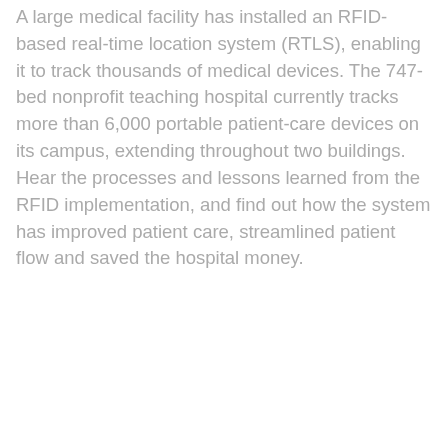A large medical facility has installed an RFID-based real-time location system (RTLS), enabling it to track thousands of medical devices. The 747-bed nonprofit teaching hospital currently tracks more than 6,000 portable patient-care devices on its campus, extending throughout two buildings. Hear the processes and lessons learned from the RFID implementation, and find out how the system has improved patient care, streamlined patient flow and saved the hospital money.